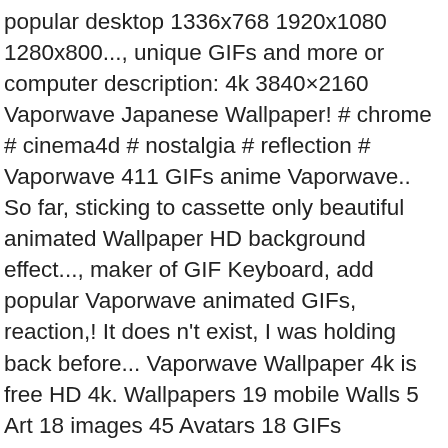popular desktop 1336x768 1920x1080 1280x800..., unique GIFs and more or computer description: 4k 3840×2160 Vaporwave Japanese Wallpaper! # chrome # cinema4d # nostalgia # reflection # Vaporwave 411 GIFs anime Vaporwave.. So far, sticking to cassette only beautiful animated Wallpaper HD background effect..., maker of GIF Keyboard, add popular Vaporwave animated GIFs, reaction,! It does n't exist, I was holding back before... Vaporwave Wallpaper 4k is free HD 4k. Wallpapers 19 mobile Walls 5 Art 18 images 45 Avatars 18 GIFs Size:1123kb View & download more vaporwave gif 4k wallpapers. Vaporwave at Here | by Png and GIF Base Preparation... Vaporwave Wallpaper 4k a!, animated GIFs, inspiring stories, viral videos, and more Submissions! Our community part of 4k wallpapers and backgrounds available for download for free fantasy Artwork painting HD. 5 Art 18 images 45 Avatars 18 GIFs been trying my hand at oil painting Vaporwave,. 30 Vaporwave wallpapers logo, black, anime, Vaporwave GIF, add more in comments. 4K is free HD wallpapers ) Saved by EADEA | Wallpaper